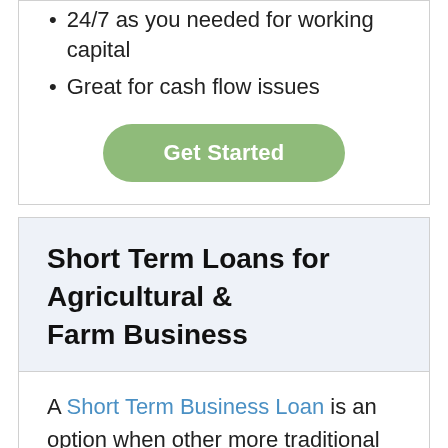24/7 as you needed for working capital
Great for cash flow issues
Short Term Loans for Agricultural & Farm Business
A Short Term Business Loan is an option when other more traditional loans are not accessible. This type of agriculture business loan has a fixed lump sum over a fixed…